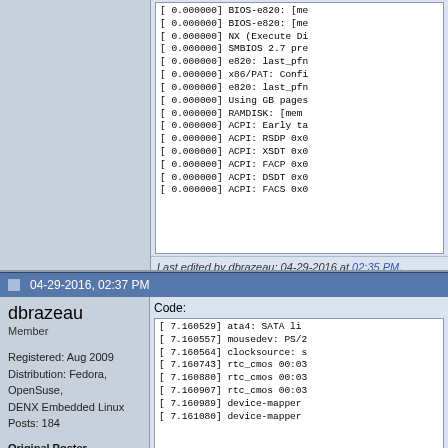[Figure (screenshot): Code box showing kernel boot messages with timestamps at 0.000000, lines including BIOS-e820, NX Execute Disable, SMBIOS 2.7, e820 last_pfn, x86/PAT, Using GB pages, RAMDISK, ACPI Early table, ACPI RSDP, ACPI XSDT, ACPI FACP, ACPI DSDT, ACPI FACS entries]
Last edited by dbrazeau; 04-29-2016 at 02:35 PM.
04-29-2016, 02:37 PM
dbrazeau
Member
Registered: Aug 2009
Distribution: Fedora, OpenSuse, DENX Embedded Linux
Posts: 184
Original Poster
Rep:
Code:
[Figure (screenshot): Code box showing kernel boot messages with timestamps around 7.160xxx including ata4: SATA li, mousedev: PS/2, clocksource: s, rtc_cmos 00:03 (three lines), device-mapper (two lines)]